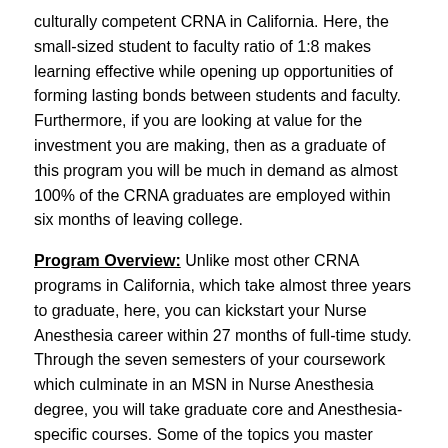culturally competent CRNA in California. Here, the small-sized student to faculty ratio of 1:8 makes learning effective while opening up opportunities of forming lasting bonds between students and faculty. Furthermore, if you are looking at value for the investment you are making, then as a graduate of this program you will be much in demand as almost 100% of the CRNA graduates are employed within six months of leaving college.
Program Overview: Unlike most other CRNA programs in California, which take almost three years to graduate, here, you can kickstart your Nurse Anesthesia career within 27 months of full-time study. Through the seven semesters of your coursework which culminate in an MSN in Nurse Anesthesia degree, you will take graduate core and Anesthesia-specific courses. Some of the topics you master include theoretical foundations for health professionals, advanced health assessment, principles of anesthesia, pharmacology, human anatomy & physiology, pathophysiology, clinical anesthesia, research methods, and health policy issues.